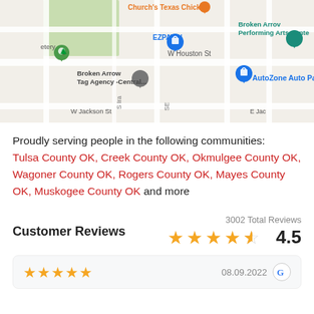[Figure (map): Google Maps screenshot showing area around Broken Arrow, Oklahoma with landmarks including Church's Texas Chicken, EZPAWN, Broken Arrow Tag Agency Central, AutoZone Auto Parts, Broken Arrow Performing Arts Center, and street labels including W Houston St, W Jackson St, S Date Ave, S Lions Ave.]
Proudly serving people in the following communities: Tulsa County OK, Creek County OK, Okmulgee County OK, Wagoner County OK, Rogers County OK, Mayes County OK, Muskogee County OK and more
3002 Total Reviews
Customer Reviews
4.5
[Figure (other): Five orange stars rating display for a review]
08.09.2022